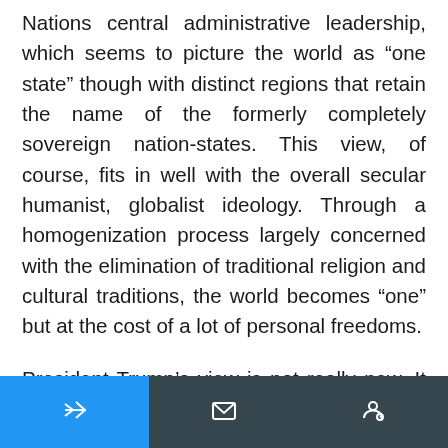Nations central administrative leadership, which seems to picture the world as “one state” though with distinct regions that retain the name of the formerly completely sovereign nation-states. This view, of course, fits in well with the overall secular humanist, globalist ideology. Through a homogenization process largely concerned with the elimination of traditional religion and cultural traditions, the world becomes “one” but at the cost of a lot of personal freedoms.
President Trump’s view is not really new. It was echoed in the early 20th century by Tsar